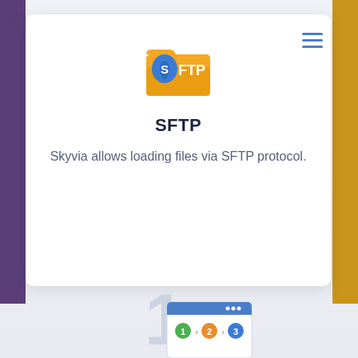[Figure (logo): SFTP folder icon with blue shield and 'S FTP' text on an orange/yellow folder]
SFTP
Skyvia allows loading files via SFTP protocol.
[Figure (screenshot): Step wizard illustration showing numbered steps 1, 2, 3 in a browser-like window, partially visible at the bottom of the page]